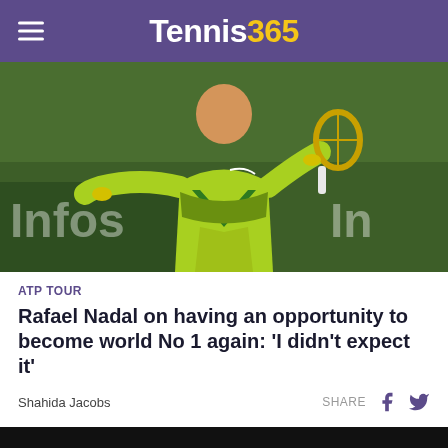Tennis365
[Figure (photo): Rafael Nadal in a lime green Nike outfit celebrating on a tennis court, holding racket, with Infosys advertising boards in background]
ATP TOUR
Rafael Nadal on having an opportunity to become world No 1 again: ‘I didn’t expect it’
Shahida Jacobs
[Figure (photo): Person photographed against a dark background, partial head visible at bottom of page]